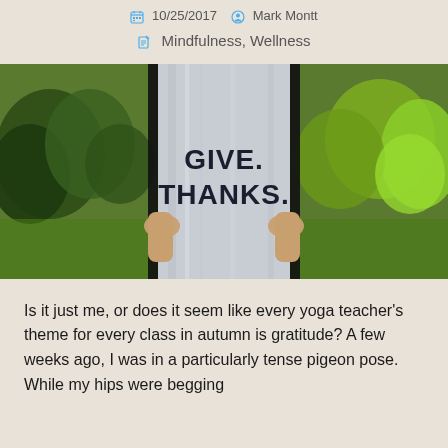10/25/2017  Mark Montt
Mindfulness, Wellness
[Figure (photo): Person holding a framed sign reading 'GIVE. THANKS.' against an outdoor green background]
Is it just me, or does it seem like every yoga teacher's theme for every class in autumn is gratitude? A few weeks ago, I was in a particularly tense pigeon pose. While my hips were begging